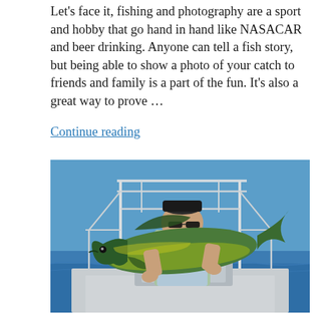Let's face it, fishing and photography are a sport and hobby that go hand in hand like NASACAR and beer drinking. Anyone can tell a fish story, but being able to show a photo of your catch to friends and family is a part of the fun. It's also a great way to prove ...
Continue reading
[Figure (photo): A man standing on a boat on open ocean, holding up a large mahi-mahi (dorado) fish with both hands. He is wearing a dark cap and sunglasses, smiling. The boat has a white aluminum T-top structure behind him. The ocean is blue and calm in the background.]